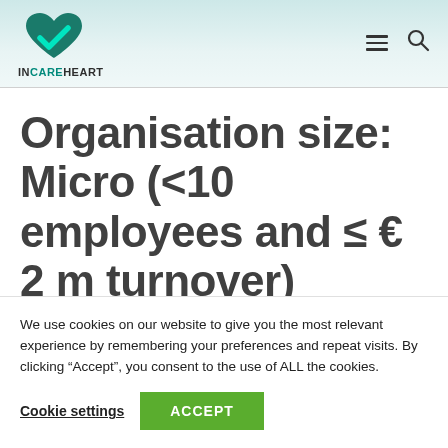INCAREHEART
Organisation size: Micro (<10 employees and ≤ € 2 m turnover)
We use cookies on our website to give you the most relevant experience by remembering your preferences and repeat visits. By clicking “Accept”, you consent to the use of ALL the cookies.
Cookie settings | ACCEPT